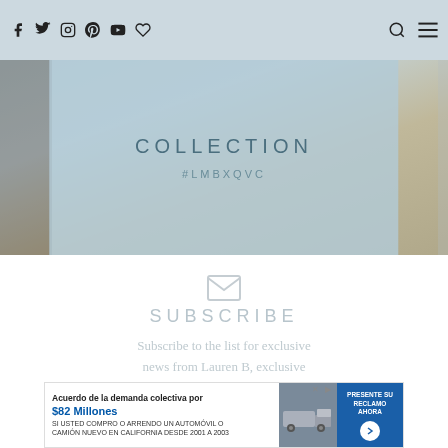Navigation bar with social icons: Facebook, Twitter, Instagram, Pinterest, YouTube, and a heart/bookmark icon. Search and menu icons on the right.
[Figure (photo): Hero banner image with light blue overlay panel showing 'COLLECTION' and '#LMBXQVC' hashtag text. Background shows home decor items including wood textures.]
[Figure (illustration): Email/envelope icon for subscribe section]
SUBSCRIBE
Subscribe to the list for exclusive news from Lauren B, exclusive sale and other online happenings you can find at our little clubhouse on your screen.
[Figure (other): Advertisement banner: 'Acuerdo de la demanda colectiva por $82 Millones. SI USTED COMPRO O ARRENDO UN AUTOMÓVIL O CAMIÓN NUEVO EN CALIFORNIA DESDE 2001 A 2003' with a truck image and 'PRESENTE SU RECLAMO AHORA' call-to-action button.]